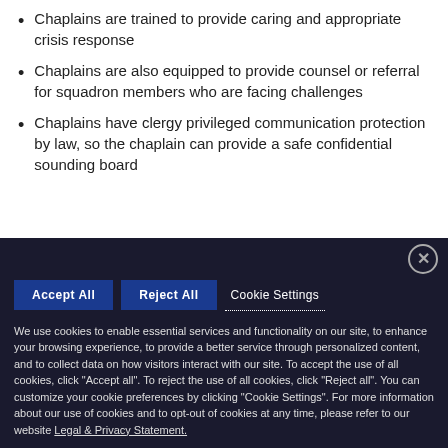Chaplains are trained to provide caring and appropriate crisis response
Chaplains are also equipped to provide counsel or referral for squadron members who are facing challenges
Chaplains have clergy privileged communication protection by law, so the chaplain can provide a safe confidential sounding board
We use cookies to enable essential services and functionality on our site, to enhance your browsing experience, to provide a better service through personalized content, and to collect data on how visitors interact with our site. To accept the use of all cookies, click "Accept all". To reject the use of all cookies, click "Reject all". You can customize your cookie preferences by clicking "Cookie Settings". For more information about our use of cookies and to opt-out of cookies at any time, please refer to our website Legal & Privacy Statement.